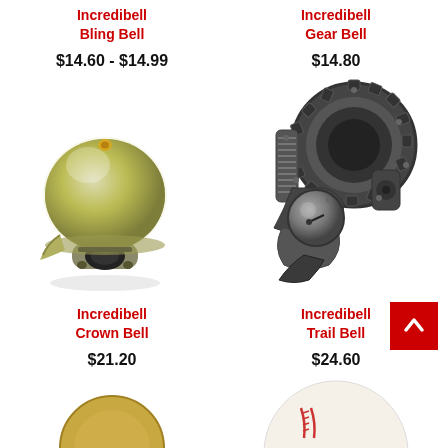Incredibell
Bling Bell
$14.60 - $14.99
Incredibell
Gear Bell
$14.80
[Figure (photo): Incredibell Bling Bell - a small silver/chrome dome bicycle bell with a thumb lever, viewed from front-left angle]
Incredibell
Crown Bell
$21.20
[Figure (photo): Incredibell Trail Bell - a dark grey/gunmetal mechanical bike bell with gear-wheel ring and handlebar clamp mechanism]
Incredibell
Trail Bell
$24.60
[Figure (photo): Partial view of a small bell or coin at bottom-left]
[Figure (photo): Partial view of a product at bottom-right]